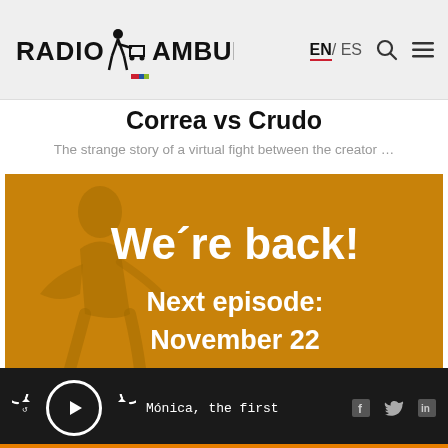RADIO AMBULANTE EN / ES
Correa vs Crudo
The strange story of a virtual fight between the creator …
[Figure (photo): Golden/amber colored promotional image with silhouette of a person and white bold text reading 'We're back! Next episode: November 22']
Mónica, the first